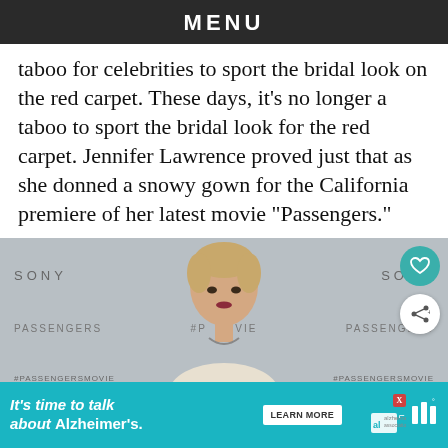MENU
taboo for celebrities to sport the bridal look on the red carpet. These days, it’s no longer a taboo to sport the bridal look for the red carpet. Jennifer Lawrence proved just that as she donned a snowy gown for the California premiere of her latest movie “Passengers.”
[Figure (photo): Jennifer Lawrence at the Passengers movie premiere, standing in front of a backdrop displaying SONY and PASSENGERS logos with #PASSENGERSMOVIE hashtags. She is wearing a strapless dress with a necklace, with blonde hair up.]
[Figure (infographic): Advertisement banner: 'It’s time to talk about Alzheimer’s.' with a LEARN MORE button and the Alzheimer's Association logo. Has a close (X) button and weather icon.]